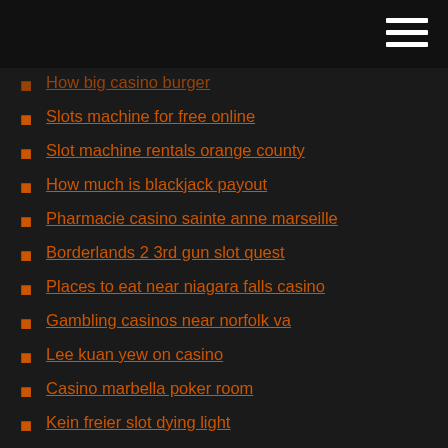How big casino burger
Slots machine for free online
Slot machine rentals orange county
How much is blackjack payout
Pharmacie casino sainte anne marseille
Borderlands 2 3rd gun slot quest
Places to eat near niagara falls casino
Gambling casinos near norfolk va
Lee kuan yew on casino
Casino marbella poker room
Kein freier slot dying light
Key west poker run powerboat
Geant casino electromenager seche linge
Free texas tea slot games
Good way to win at roulette